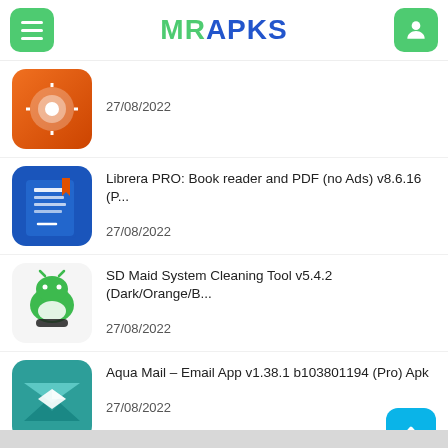MRAPKS
27/08/2022
Librera PRO: Book reader and PDF (no Ads) v8.6.16 (P...
27/08/2022
SD Maid System Cleaning Tool v5.4.2 (Dark/Orange/B...
27/08/2022
Aqua Mail – Email App v1.38.1 b103801194 (Pro) Apk
27/08/2022